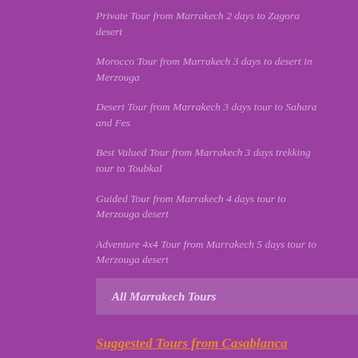Private Tour from Marrakech 2 days to Zagora desert
Morocco Tour from Marrakech 3 days to desert in Merzouga
Desert Tour from Marrakech 3 days tour to Sahara and Fes
Best Valued Tour from Marrakech 3 days trekking tour to Toubkal
Guided Tour from Marrakech 4 days tour to Merzouga desert
Adventure 4x4 Tour from Marrakech 5 days tour to Merzouga desert
All Marrakech Tours
Suggested Tours from Casablanca